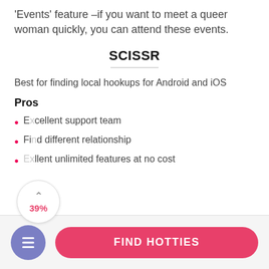'Events' feature –if you want to meet a queer woman quickly, you can attend these events.
SCISSR
Best for finding local hookups for Android and iOS
Pros
Excellent support team
Find different relationship
Excellent unlimited features at no cost